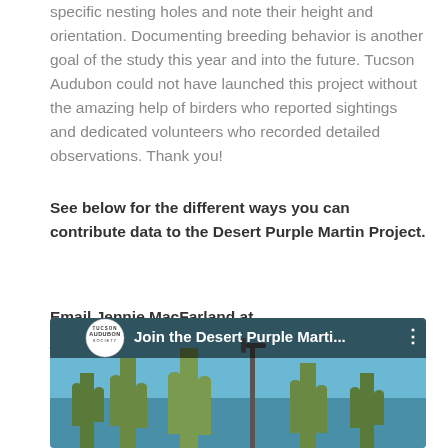specific nesting holes and note their height and orientation. Documenting breeding behavior is another goal of the study this year and into the future. Tucson Audubon could not have launched this project without the amazing help of birders who reported sightings and dedicated volunteers who recorded detailed observations. Thank you!
See below for the different ways you can contribute data to the Desert Purple Martin Project.
Email Jennie MacFarland at jmacfarland@tucsonaudubon.org with questions.
[Figure (screenshot): YouTube video thumbnail showing 'Join the Desert Purple Marti...' with Tucson Audubon Society logo and saguaro cactus background]